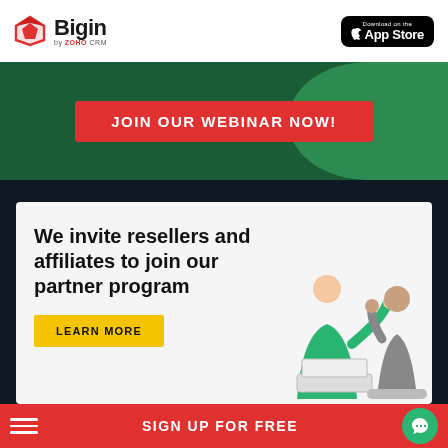Bigin by ZOHO CRM — Download on the App Store
[Figure (illustration): Green webinar banner with red JOIN OUR WEBINAR NOW! button]
[Figure (illustration): Partner program card with heading 'We invite resellers and affiliates to join our partner program', yellow LEARN MORE button, and illustration of two people at laptop]
PRODUCT
SIGN UP FOR FREE